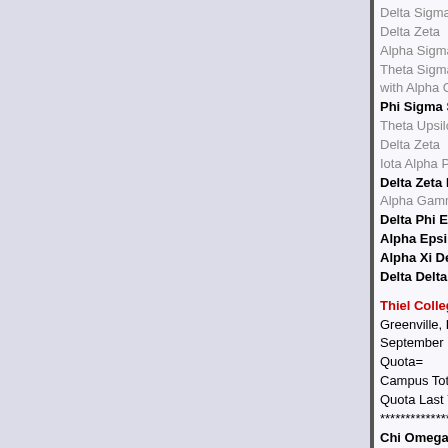Delta Sigma Epsilon Kappa 1921-1956 National absorbed by Delta Zeta
Alpha Sigma Alpha Kappa Kappa 1922-?
Theta Sigma Upsilon Gamma 1924-1959 National absorbed with Alpha Gamma Delta
Phi Sigma Sigma Xi 1926 (55)
Theta Upsilon Delta Alpha 1933-1962 National absorbed by Delta Zeta
Iota Alpha Pi Sigma 1946-1971
Delta Zeta Delta Tau 1956-?/1988
Alpha Gamma Delta Alpha Rho 1959-1979
Delta Phi Epsilon Delta Nu 1959-1992/2009 (47)
Alpha Epsilon Phi Phi Theta 1984 (34)
Alpha Xi Delta Iota Chi 2014
Delta Delta Delta Epsilon Phi 2019 (39)
Thiel College
Greenville, PA
September 12-17, 2021
Quota=
Campus Total=23 (Fall 2018)
Quota Last Year=8
******************
Chi Omega Beta Delta 1950 (5)
Sigma Kappa Gamma Delta 1952 (4)
Alpha Xi Delta Gamma Sigma 1959 (7)
Alpha Gamma Delta Alpha Chi 1961-1994
Zeta Tau Alpha Zeta Beta 1964 (5)
University of Pennsylvania